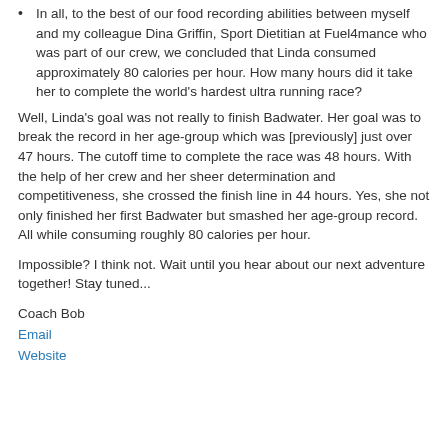In all, to the best of our food recording abilities between myself and my colleague Dina Griffin, Sport Dietitian at Fuel4mance who was part of our crew, we concluded that Linda consumed approximately 80 calories per hour.  How many hours did it take her to complete the world's hardest ultra running race?
Well, Linda's goal was not really to finish Badwater.  Her goal was to break the record in her age-group which was [previously] just over 47 hours.  The cutoff time to complete the race was 48 hours.  With the help of her crew and her sheer determination and competitiveness, she crossed the finish line in 44 hours.  Yes, she not only finished her first Badwater but smashed her age-group record.  All while consuming roughly 80 calories per hour.
Impossible?  I think not.  Wait until you hear about our next adventure together!  Stay tuned...
Coach Bob
Email
Website